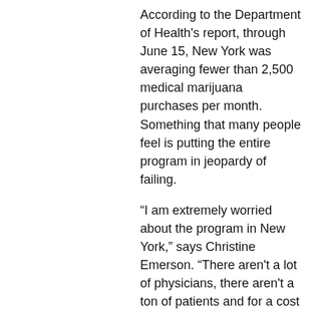According to the Department of Health's report, through June 15, New York was averaging fewer than 2,500 medical marijuana purchases per month. Something that many people feel is putting the entire program in jeopardy of failing.
“I am extremely worried about the program in New York,” says Christine Emerson. “There aren't a lot of physicians, there aren't a ton of patients and for a cost point it is extremely expensive. Our out of pocket is $1,000 per month.”
Assemblyman Dick Gottfried sponsored the medical marijuana bill back in 2014 and says these recommendations don’t go far enough to help the program.